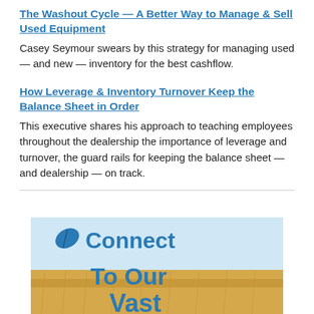The Washout Cycle — A Better Way to Manage & Sell Used Equipment
Casey Seymour swears by this strategy for managing used — and new — inventory for the best cashflow.
How Leverage & Inventory Turnover Keep the Balance Sheet in Order
This executive shares his approach to teaching employees throughout the dealership the importance of leverage and turnover, the guard rails for keeping the balance sheet — and dealership — on track.
[Figure (illustration): Banner advertisement with blue leaf icon and bold blue text reading 'Connect To Our Vast' on a background with light blue sky and golden wheat field.]